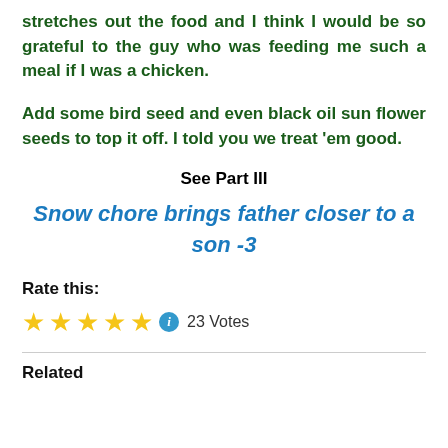stretches out the food and I think I would be so grateful to the guy who was feeding me such a meal if I was a chicken.
Add some bird seed and even black oil sun flower seeds to top it off. I told you we treat 'em good.
See Part III
Snow chore brings father closer to a son -3
Rate this:
★★★★★ ℹ 23 Votes
Related